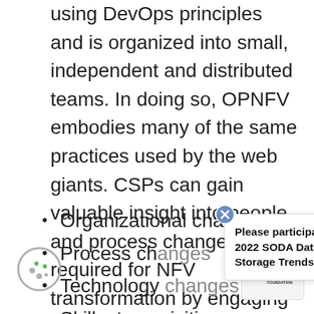using DevOps principles and is organized into small, independent and distributed teams. In doing so, OPNFV embodies many of the same practices used by the web giants. CSPs can gain valuable insight into people and process changes required for NFV transformation by engaging with OPNFV. These intangible benefits include insights into:
Organizational changes
Process changes
Technology changes
Skillset acquisition
[Figure (other): Popup overlay with text: Please participate in our 2022 SODA Data and Storage Trends survey!]
[Figure (logo): The Linux Foundation logo]
[Figure (illustration): Cookie/browser consent icon — round face with dots]